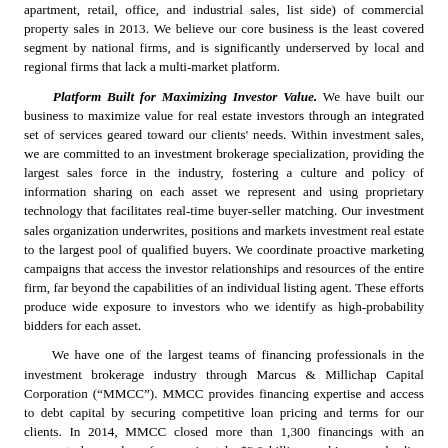apartment, retail, office, and industrial sales, list side) of commercial property sales in 2013. We believe our core business is the least covered segment by national firms, and is significantly underserved by local and regional firms that lack a multi-market platform.
Platform Built for Maximizing Investor Value. We have built our business to maximize value for real estate investors through an integrated set of services geared toward our clients' needs. Within investment sales, we are committed to an investment brokerage specialization, providing the largest sales force in the industry, fostering a culture and policy of information sharing on each asset we represent and using proprietary technology that facilitates real-time buyer-seller matching. Our investment sales organization underwrites, positions and markets investment real estate to the largest pool of qualified buyers. We coordinate proactive marketing campaigns that access the investor relationships and resources of the entire firm, far beyond the capabilities of an individual listing agent. These efforts produce wide exposure to investors who we identify as high-probability bidders for each asset.
We have one of the largest teams of financing professionals in the investment brokerage industry through Marcus & Millichap Capital Corporation (“MMCC”). MMCC provides financing expertise and access to debt capital by securing competitive loan pricing and terms for our clients. In 2014, MMCC closed more than 1,300 financings with an aggregate loan value of approximately $3.8 billion, making us a leading mortgage broker in the industry. Finally, our market research analyzes the latest local and national economic and real estate trends, enabling our clients to make informed investment and financing decisions. These integrated services enable us to facilitate transactions for our clients across different property types and markets.